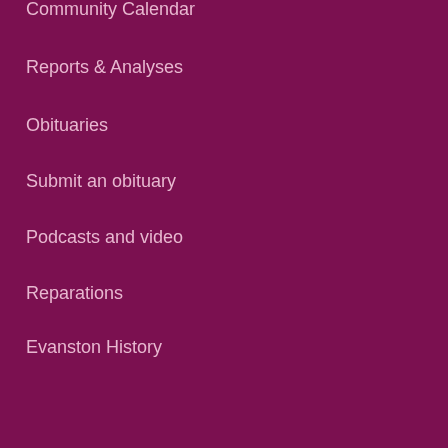Community Calendar
Reports & Analyses
Obituaries
Submit an obituary
Podcasts and video
Reparations
Evanston History
Our mission
About us
Board of Directors
Advisory Committee
Diversity, equity and inclusion